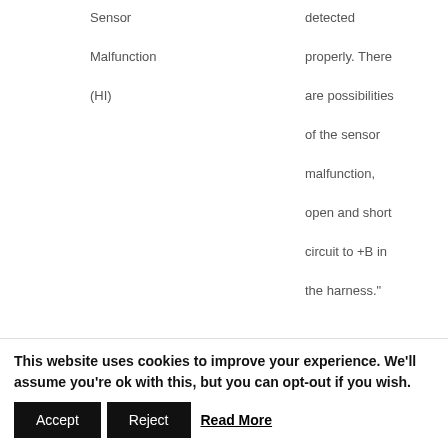| P-Code | DST-1 Display | Remarks | Description |
| --- | --- | --- | --- |
|  | Sensor Malfunction (HI) |  | detected properly. There are possibilities of the sensor malfunction, open and short circuit to +B in the harness." |
| P0182 | Fuel Temperature Sensor Malfunction | Integrated in the supply pump. | "The temperature cannot be detected |
This website uses cookies to improve your experience. We'll assume you're ok with this, but you can opt-out if you wish.